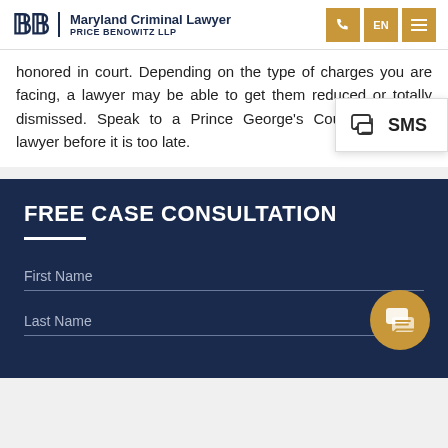Maryland Criminal Lawyer — Price Benowitz LLP
honored in court. Depending on the type of charges you are facing, a lawyer may be able to get them reduced or totally dismissed. Speak to a Prince George's County speeding lawyer before it is too late.
FREE CASE CONSULTATION
First Name
Last Name